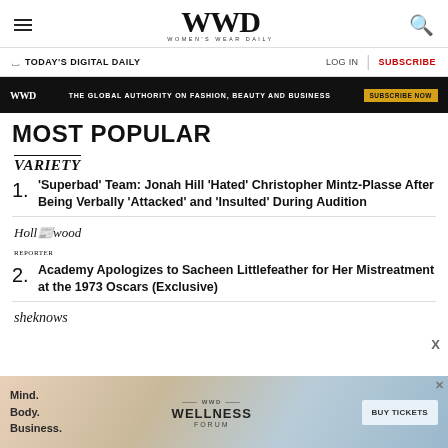WWD WOMEN'S WEAR DAILY
TODAY'S DIGITAL DAILY | LOG IN | SUBSCRIBE
WWD THE GLOBAL AUTHORITY ON FASHION, BEAUTY AND BUSINESS SUBSCRIBE NOW
MOST POPULAR
[Figure (logo): Variety magazine logo in italic serif font]
1. 'Superbad' Team: Jonah Hill 'Hated' Christopher Mintz-Plasse After Being Verbally 'Attacked' and 'Insulted' During Audition
[Figure (logo): The Hollywood Reporter logo in italic serif font]
2. Academy Apologizes to Sacheen Littlefeather for Her Mistreatment at the 1973 Oscars (Exclusive)
[Figure (logo): SheKnows logo in italic serif font]
[Figure (infographic): WWD Wellness Forum advertisement banner: Mind. Body. Business. WELLNESS FORUM BUY TICKETS]